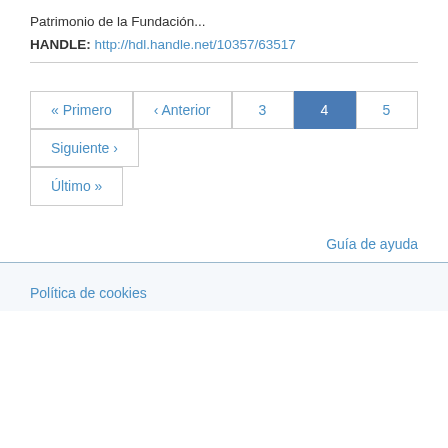Patrimonio de la Fundación...
HANDLE: http://hdl.handle.net/10357/63517
« Primero ‹ Anterior 3 4 5 Siguiente › Último »
Guía de ayuda
Política de cookies